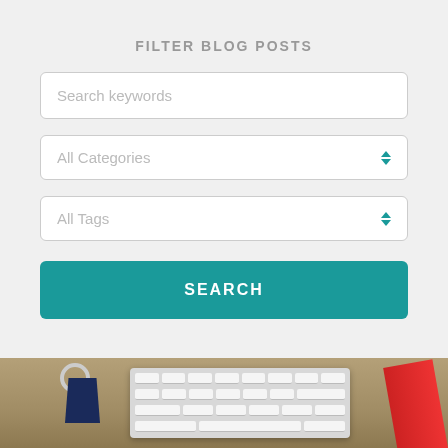FILTER BLOG POSTS
Search keywords
All Categories
All Tags
SEARCH
[Figure (photo): Photo of a keyboard on a wooden desk with a dark blue binder clip and a red object visible]